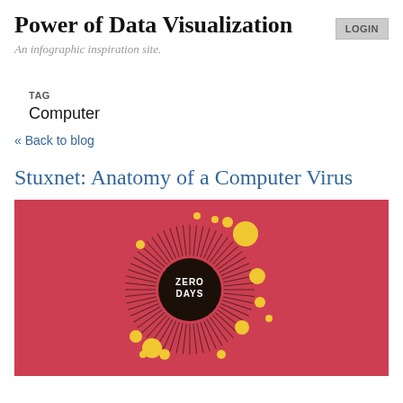Power of Data Visualization
An infographic inspiration site.
TAG
Computer
« Back to blog
Stuxnet: Anatomy of a Computer Virus
[Figure (infographic): Red background infographic showing a circular sunburst diagram with yellow circles of various sizes clustered around a dark center circle labeled 'ZERO DAYS' in white text, representing the Stuxnet computer virus anatomy.]